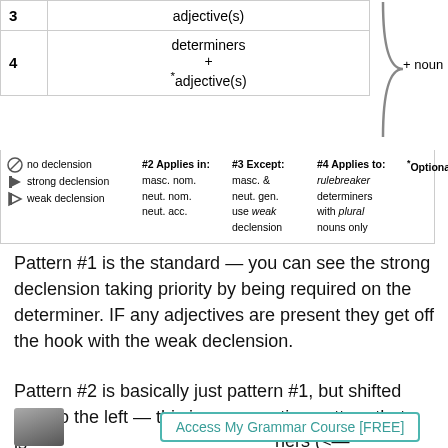|  | Pattern | Brace+noun |
| --- | --- | --- |
| 3 | adjective(s) |  |
| 4 | determiners + *adjective(s) |  |
no declension | strong declension | weak declension | #2 Applies in: masc. nom. neut. nom. neut. acc. | #3 Except: masc. & neut. gen. use weak declension | #4 Applies to: rulebreaker determiners with plural nouns only | *Optional
Pattern #1 is the standard — you can see the strong declension taking priority by being required on the determiner. IF any adjectives are present they get off the hook with the weak declension.
Pattern #2 is basically just pattern #1, but shifted over to the left — this is an exception pattern that is needed for certain determiners (<— explanation coming up) and ONLY in the 3
[Figure (photo): Photo of a woman with glasses at the bottom left of the page]
Access My Grammar Course [FREE]